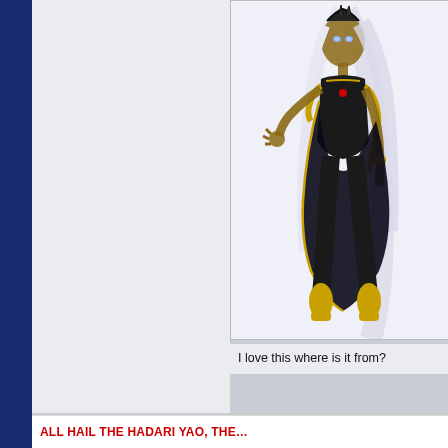[Figure (illustration): Illustrated female video game character with white/silver hair, blue glowing eyes, dark skin, wearing black and gold armor/costume with a flowing black cape, in a dynamic floating pose. The character appears to be from a fighting video game.]
I love this where is it from?
ALL HAIL THE HADARI YAO, THE…